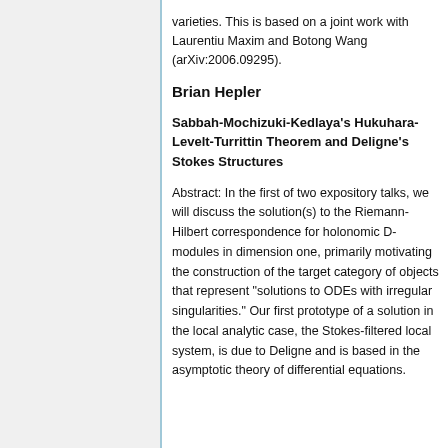varieties. This is based on a joint work with Laurentiu Maxim and Botong Wang (arXiv:2006.09295).
Brian Hepler
Sabbah-Mochizuki-Kedlaya's Hukuhara-Levelt-Turrittin Theorem and Deligne's Stokes Structures
Abstract: In the first of two expository talks, we will discuss the solution(s) to the Riemann-Hilbert correspondence for holonomic D-modules in dimension one, primarily motivating the construction of the target category of objects that represent "solutions to ODEs with irregular singularities." Our first prototype of a solution in the local analytic case, the Stokes-filtered local system, is due to Deligne and is based in the asymptotic theory of differential equations.